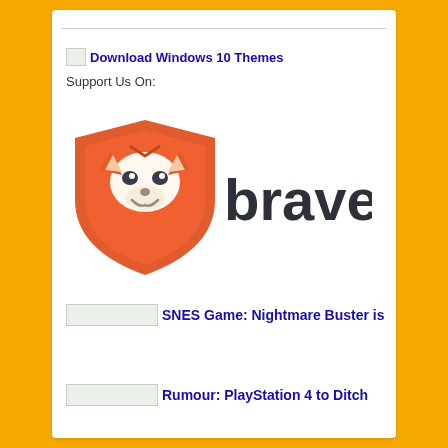[Figure (logo): Broken image icon followed by 'Download Windows 10 Themes' hyperlink in blue]
Support Us On:
[Figure (logo): Brave browser logo — orange lion shield icon next to bold 'brave' text in dark gray]
SNES Game: Nightmare Buster is
announced for a 2013 release, pre-order now
Rumour: PlayStation 4 to Ditch